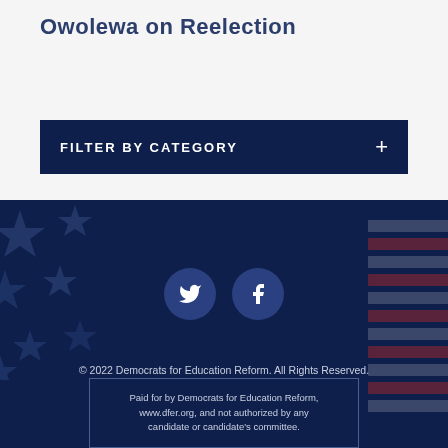Owolewa on Reelection
FILTER BY CATEGORY
[Figure (infographic): Dark blue footer section with decorative stars pattern on the left side and horizontal stripes on the right side, containing social media icons and copyright information]
© 2022 Democrats for Education Reform. All Rights Reserved.
Paid for by Democrats for Education Reform, www.dfer.org, and not authorized by any candidate or candidate's committee.